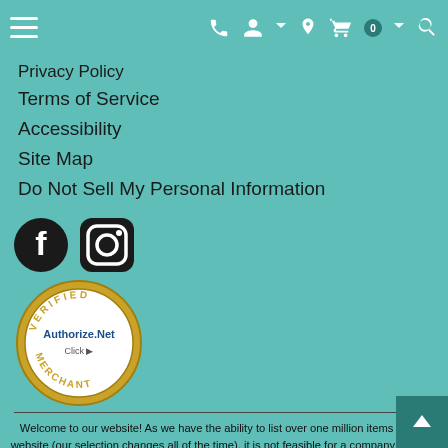Navigation bar with hamburger menu, phone, account, location, cart (0), and search icons
Privacy Policy
Terms of Service
Accessibility
Site Map
Do Not Sell My Personal Information
[Figure (logo): Facebook and Instagram social media icons]
[Figure (logo): Authorize.Net Verified Merchant badge]
Welcome to our website! As we have the ability to list over one million items on our website (our selection changes all of the time), it is not feasible for a company our size to record and playback the descriptions on every item on our website. However, if you have a disability we are here to help you. Please call our disability services phone line at 864-229-4012 during regular business hours and one of our kind and friendly personal shoppers will help you navigate through our website, help conduct advanced searches, help you choose the item you are looking for with the specifications you are